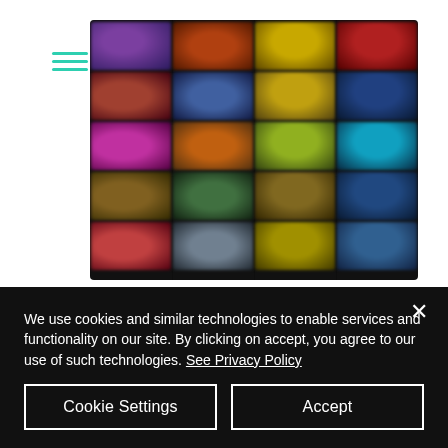[Figure (screenshot): Hamburger menu icon with three teal horizontal lines]
[Figure (screenshot): Grid of blurred colorful casino/game tile thumbnails arranged in 5 rows and 4 columns]
We use cookies and similar technologies to enable services and functionality on our site. By clicking on accept, you agree to our use of such technologies. See Privacy Policy
Cookie Settings
Accept